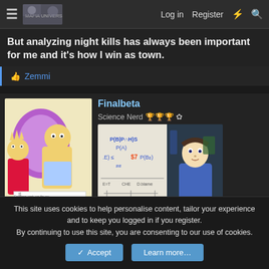Log in  Register
But analyzing night kills has always been important for me and it's how I win as town.
👍 Zemmi
Finalbeta
Science Nerd 🏆🏆🏆 ✿
[Figure (screenshot): The Futurist - Sheldon Cooper at whiteboard with Bayesian equation]
[Figure (illustration): Simpsons scene with happiness vs intelligence graph]
This site uses cookies to help personalise content, tailor your experience and to keep you logged in if you register.
By continuing to use this site, you are consenting to our use of cookies.
✓ Accept    Learn more...